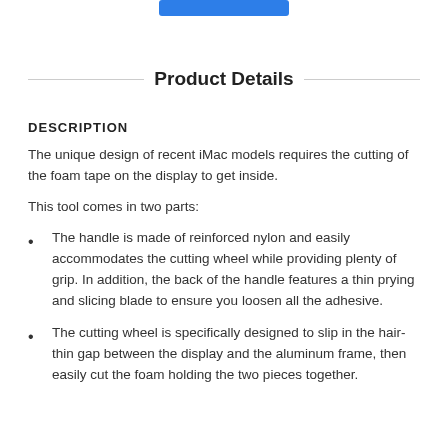[Figure (other): Blue rectangular button or bar at the top center of the page]
Product Details
DESCRIPTION
The unique design of recent iMac models requires the cutting of the foam tape on the display to get inside.
This tool comes in two parts:
The handle is made of reinforced nylon and easily accommodates the cutting wheel while providing plenty of grip. In addition, the back of the handle features a thin prying and slicing blade to ensure you loosen all the adhesive.
The cutting wheel is specifically designed to slip in the hair-thin gap between the display and the aluminum frame, then easily cut the foam holding the two pieces together.